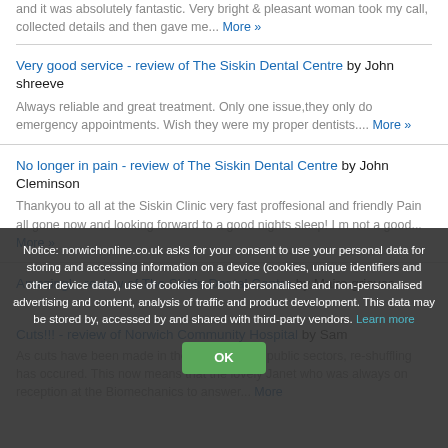and it was absolutely fantastic. Very bright & pleasant woman took my call, collected details and then gave me... More »
Very good service - review of The Siskin Dental Centre by John shreeve
Always reliable and great treatment. Only one issue,they only do emergency appointments. Wish they were my proper dentists.... More »
No longer in pain - review of The Siskin Dental Centre by John Cleminson
Thankyou to all at the Siskin Clinic very fast proffesional and friendly Pain all gone now and looking forward to a good nights sleep! I m not a good... More »
Amazing! - review of The Siskin Dental Centre by Maire grieves
Notice: norwichonline.co.uk asks for your consent to use your personal data for storing and accessing information on a device (cookies, unique identifiers and other device data), use of cookies for both personalised and non-personalised advertising and content, analysis of traffic and product development. This data may be stored by, accessed by and shared with third-party vendors. Learn more
OK
Cuts!!! - review of Norwich Community Hospital by Sam
As cuts have been made in the NHS as in all public sectors, re-shuffling has occured. This now means that the lovely Janet who was always on reception at the Biomechanics to answer... More